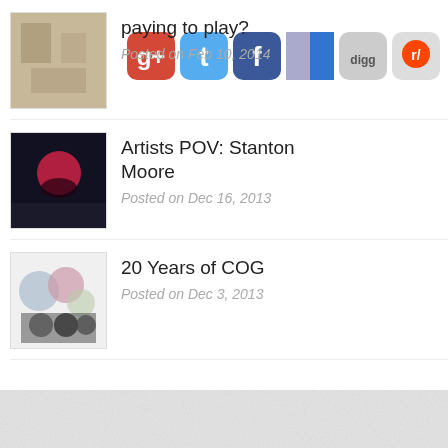paying to play?
Posted on Feb 10, 2014
Artists POV: Stanton Moore
Posted on Dec 16, 2013
20 Years of COG
Posted on Dec 3, 2013
[Figure (screenshot): Social share icons: Google+, Twitter, Facebook, Delicious, Digg, Reddit]
[Figure (photo): Textured light grey background footer area]